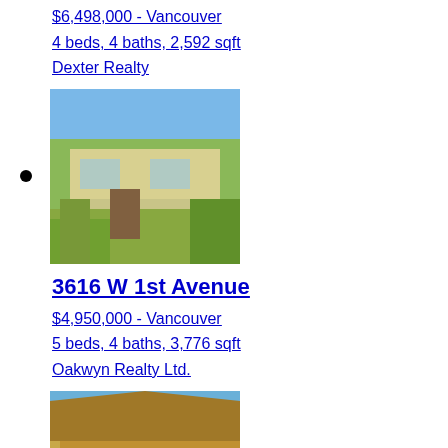$6,498,000 - Vancouver
4 beds, 4 baths, 2,592 sqft
Dexter Realty
[Figure (photo): Exterior photo of a two-story house with green shrubs and trees in the front yard, blue sky background]
3616 W 1st Avenue
$4,950,000 - Vancouver
5 beds, 4 baths, 3,776 sqft
Oakwyn Realty Ltd.
[Figure (photo): Exterior photo of a craftsman-style house with wood siding, red door, and flowering plants with orange flowers in foreground]